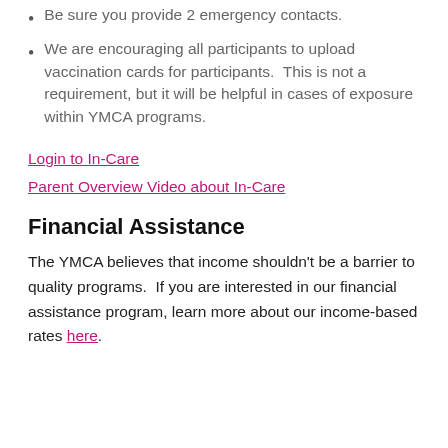Be sure you provide 2 emergency contacts.
We are encouraging all participants to upload vaccination cards for participants.  This is not a requirement, but it will be helpful in cases of exposure within YMCA programs.
Login to In-Care
Parent Overview Video about In-Care
Financial Assistance
The YMCA believes that income shouldn't be a barrier to quality programs.  If you are interested in our financial assistance program, learn more about our income-based rates here.